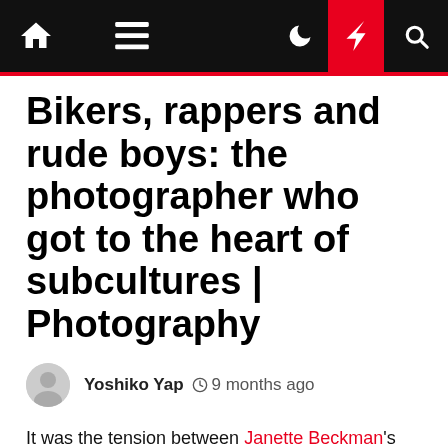Navigation bar with home, menu, dark mode, lightning, and search icons
Bikers, rappers and rude boys: the photographer who got to the heart of subcultures | Photography
Yoshiko Yap  9 months ago
It was the tension between Janette Beckman's shyness and her curiosity about people that helped spark a career photographing subcultures. "I realised that having a camera gave you licence to go up to